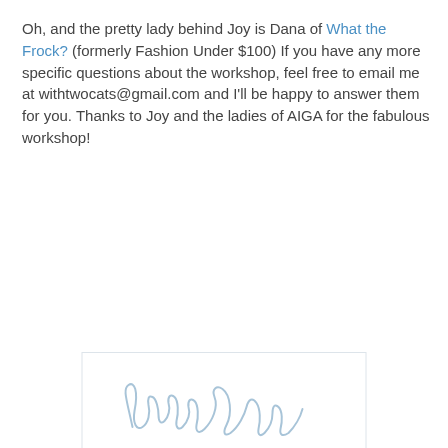Oh, and the pretty lady behind Joy is Dana of What the Frock? (formerly Fashion Under $100) If you have any more specific questions about the workshop, feel free to email me at withtwocats@gmail.com and I'll be happy to answer them for you. Thanks to Joy and the ladies of AIGA for the fabulous workshop!
[Figure (illustration): Cursive handwritten signature reading 'Lauren' in light blue ink on a white card with light border]
Lauren at 7:00 AM
Share
5 comments:
Hschlotterbeck  August 11, 2011 at 7:18 AM